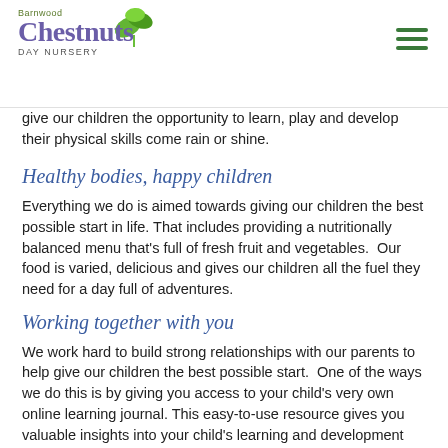Barnwood Chestnuts Day Nursery
give our children the opportunity to learn, play and develop their physical skills come rain or shine.
Healthy bodies, happy children
Everything we do is aimed towards giving our children the best possible start in life. That includes providing a nutritionally balanced menu that’s full of fresh fruit and vegetables.  Our food is varied, delicious and gives our children all the fuel they need for a day full of adventures.
Working together with you
We work hard to build strong relationships with our parents to help give our children the best possible start.  One of the ways we do this is by giving you access to your child’s very own online learning journal. This easy-to-use resource gives you valuable insights into your child’s learning and development journey, such as many. Equally as important, we’re always